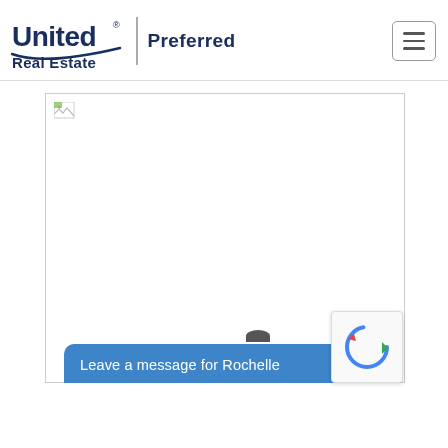[Figure (logo): United Real Estate logo with curved underline and 'Preferred' text beside it]
[Figure (photo): Large image placeholder (broken/unloaded image) with a broken image icon in the top-left corner, and a partial dark shape at the bottom]
Leave a message for Rochelle